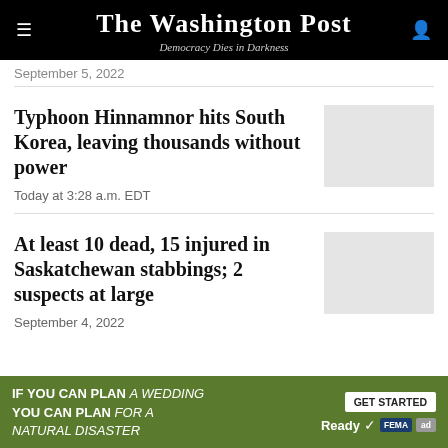The Washington Post — Democracy Dies in Darkness
September 5, 2022
Typhoon Hinnamnor hits South Korea, leaving thousands without power
Today at 3:28 a.m. EDT
[Figure (photo): Placeholder thumbnail for Typhoon Hinnamnor article]
At least 10 dead, 15 injured in Saskatchewan stabbings; 2 suspects at large
September 4, 2022
[Figure (photo): Placeholder thumbnail for Saskatchewan stabbings article]
IF YOU CAN PLAN A WEDDING YOU CAN PLAN FOR A NATURAL DISASTER — GET STARTED — Ready FEMA ad